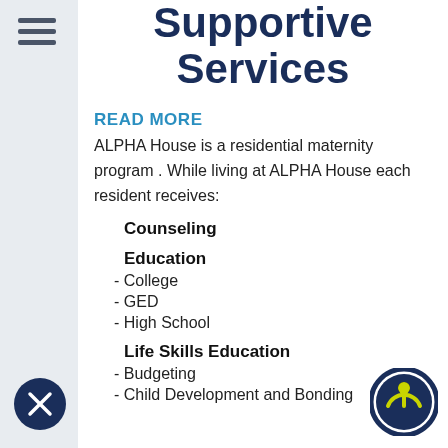Supportive Services
READ MORE
ALPHA House is a residential maternity program . While living at ALPHA House each resident receives:
Counseling
Education
- College
- GED
- High School
Life Skills Education
- Budgeting
- Child Development and Bonding